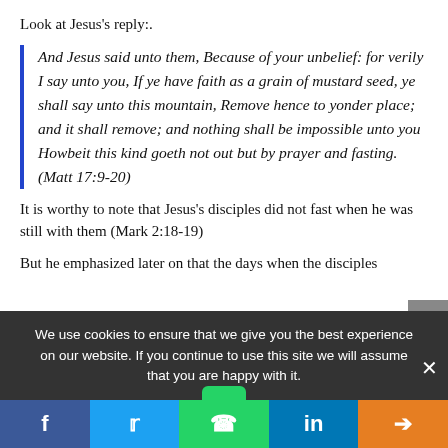Look at Jesus's reply:.
And Jesus said unto them, Because of your unbelief: for verily I say unto you, If ye have faith as a grain of mustard seed, ye shall say unto this mountain, Remove hence to yonder place; and it shall remove; and nothing shall be impossible unto you Howbeit this kind goeth not out but by prayer and fasting. (Matt 17:9-20)
It is worthy to note that Jesus's disciples did not fast when he was still with them (Mark 2:18-19)
But he emphasized later on that the days when the disciples
We use cookies to ensure that we give you the best experience on our website. If you continue to use this site we will assume that you are happy with it.